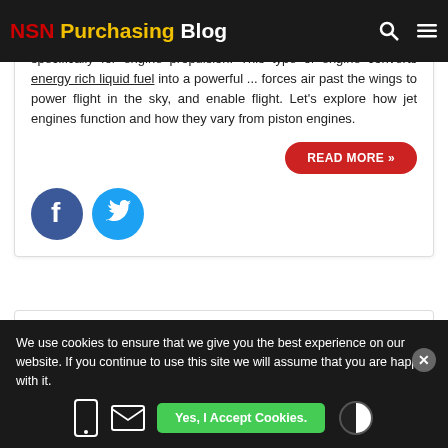NSN Purchasing Blog
specifically for engine propulsion. This type of engine converts energy rich liquid fuel into a powerful ... forces air past the wings to power flight in the sky, and enable flight. Let's explore how jet engines function and how they vary from piston engines.
READ MORE »
[Figure (logo): Facebook and Twitter social share icons]
Posted on July 11, 2019 / Walter Cutshaw  Jet Engines
We use cookies to ensure that we give you the best experience on our website. If you continue to use this site we will assume that you are happy with it.
Yes, I Accept Cookies.
...echnical Innovations And